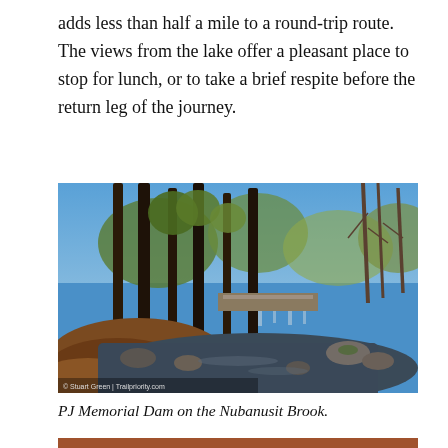adds less than half a mile to a round-trip route. The views from the lake offer a pleasant place to stop for lunch, or to take a brief respite before the return leg of the journey.
[Figure (photo): Forest scene with tall trees, a brook or stream flowing over rocks in the foreground, a small dam or waterfall visible in the middle distance, and a bright blue sky visible through the tree canopy. The ground is covered with fallen leaves. Photo credit: © Stuart Green / Trailpriority.com]
PJ Memorial Dam on the Nubanusit Brook.